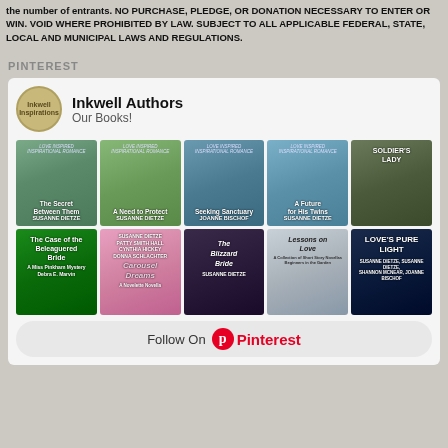the number of entrants. NO PURCHASE, PLEDGE, OR DONATION NECESSARY TO ENTER OR WIN. VOID WHERE PROHIBITED BY LAW. SUBJECT TO ALL APPLICABLE FEDERAL, STATE, LOCAL AND MUNICIPAL LAWS AND REGULATIONS.
PINTEREST
[Figure (screenshot): Pinterest widget showing Inkwell Authors board with book covers grid and Follow On Pinterest button]
Inkwell Authors
Our Books!
Follow On Pinterest